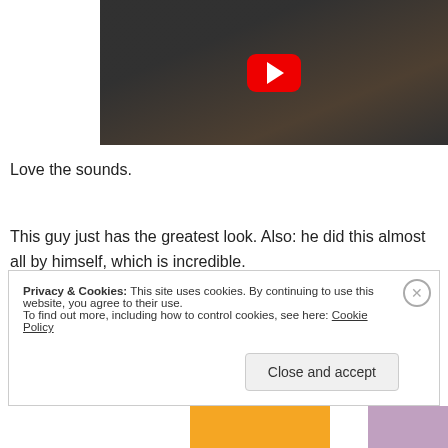[Figure (screenshot): YouTube video thumbnail showing a dark scene with a person, YouTube play button overlay in red]
Love the sounds.
This guy just has the greatest look. Also: he did this almost all by himself, which is incredible.
Privacy & Cookies: This site uses cookies. By continuing to use this website, you agree to their use.
To find out more, including how to control cookies, see here: Cookie Policy
Close and accept